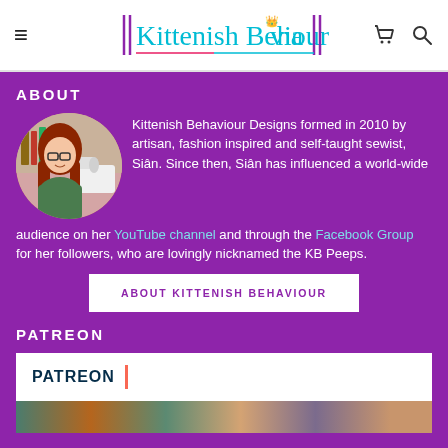≡  Kittenish Behaviour  🛒 🔍
ABOUT
[Figure (photo): Circular portrait photo of a woman with long red hair and glasses, sitting at a sewing machine]
Kittenish Behaviour Designs formed in 2010 by artisan, fashion inspired and self-taught sewist, Siân.  Since then, Siân has influenced a world-wide audience on her YouTube channel and through the Facebook Group for her followers, who are lovingly nicknamed the KB Peeps.
ABOUT KITTENISH BEHAVIOUR
PATREON
[Figure (logo): Patreon logo with bold text PATREON and orange vertical bar, on white background, with a colorful image strip below]